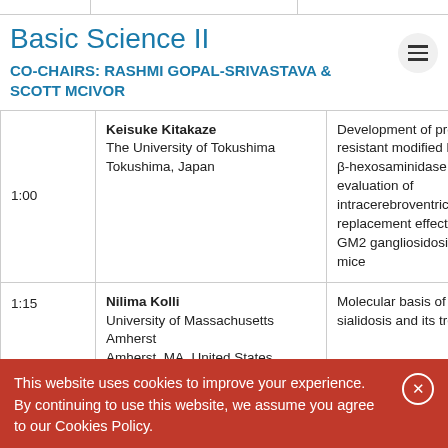Basic Science II
CO-CHAIRS: RASHMI GOPAL-SRIVASTAVA & SCOTT MCIVOR
| Time | Presenter | Presentation |
| --- | --- | --- |
| 1:00 | Keisuke Kitakaze
The University of Tokushima
Tokushima, Japan | Development of protease–resistant modified human β-hexosaminidase B and evaluation of intracerebroventricular replacement effects on GM2 gangliosidosis model mice |
| 1:15 | Nilima Kolli
University of Massachusetts Amherst
Amherst, MA, United States | Molecular basis of sialidosis and its treatment |
This website uses cookies to improve your experience. By continuing to use this website, we assume you agree to our Cookies Policy.